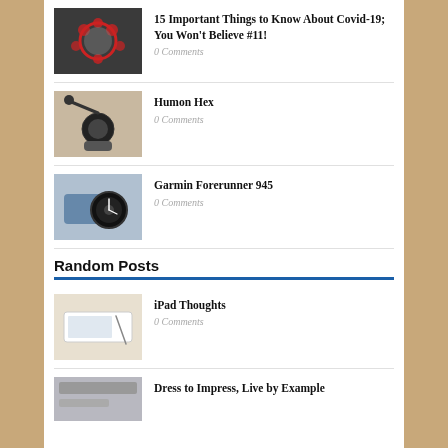15 Important Things to Know About Covid-19; You Won’t Believe #11! — 0 Comments
Humon Hex — 0 Comments
Garmin Forerunner 945 — 0 Comments
Random Posts
iPad Thoughts — 0 Comments
Dress to Impress, Live by Example